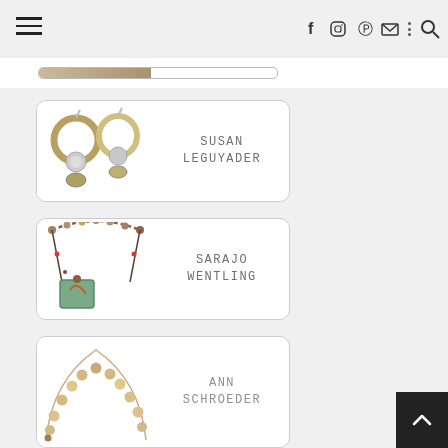Navigation bar with hamburger menu, social icons (Facebook, Instagram, Pinterest, Email, More, Search)
[Figure (other): Horizontal progress bar, partially filled]
[Figure (other): Artist card for Susan Leguyader featuring hoop earrings with coins jewelry photo and artist name text]
[Figure (other): Artist card for Sarajo Wentling featuring beaded necklace with pendant jewelry photo and artist name text]
[Figure (other): Artist card for Ann Schroeder featuring pearl/wooden bead necklace jewelry photo and artist name text (partially visible)]